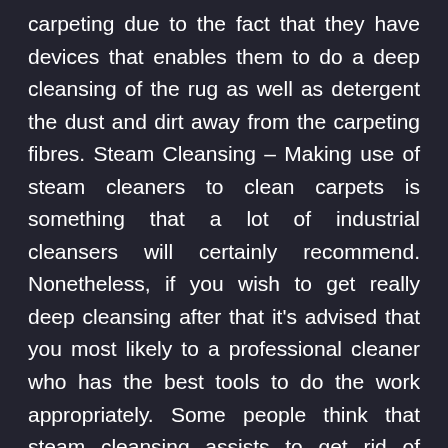carpeting due to the fact that they have devices that enables them to do a deep cleansing of the rug as well as detergent the dust and dirt away from the carpeting fibres. Steam Cleansing – Making use of steam cleaners to clean carpets is something that a lot of industrial cleansers will certainly recommend. Nonetheless, if you wish to get really deep cleansing after that it's advised that you most likely to a professional cleaner who has the best tools to do the work appropriately. Some people think that steam cleansing assists to get rid of allergens, microorganisms and also fungi in carpeting fibers. Nevertheless, most of these ideas are unfounded as there's no scientific research behind it. When it comes to clean carpeting, you'll probably discover that heavy steam cleansing doesn't actually help to remove all the dirt and also soil, instead it assists to loosen it up a little as well as allow the cleaner to remove it from the dirt.